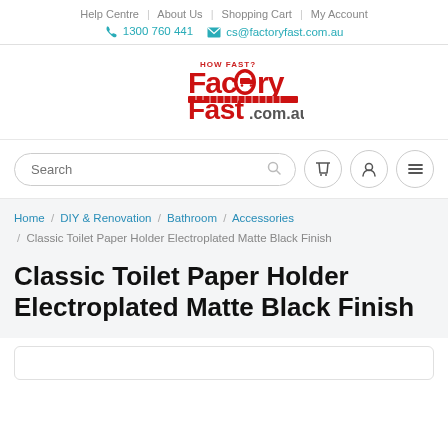Help Centre | About Us | Shopping Cart | My Account
☎ 1300 760 441 ✉ cs@factoryfast.com.au
[Figure (logo): FactoryFast.com.au logo — red and white stylized text with 'HOW FAST?' above and a truck graphic]
Search  [cart icon] [user icon] [menu icon]
Home / DIY & Renovation / Bathroom / Accessories / Classic Toilet Paper Holder Electroplated Matte Black Finish
Classic Toilet Paper Holder Electroplated Matte Black Finish